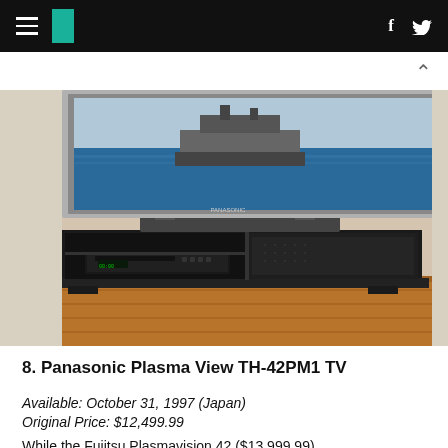HuffPost navigation — hamburger menu, logo, facebook and twitter icons
[Figure (photo): Photograph of a Panasonic plasma TV mounted above a black TV stand/cabinet with shelves and a VCR, on a hardwood floor against a white wall.]
8. Panasonic Plasma View TH-42PM1 TV
Available: October 31, 1997 (Japan)
Original Price: $12,499.99
While the Fujitsu Plasmavision 42 ($13,999.99)